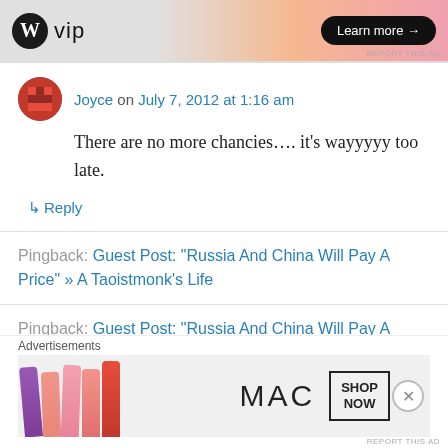[Figure (screenshot): WordPress VIP advertisement banner with 'Learn more' button]
Joyce on July 7, 2012 at 1:16 am
There are no more chancies…. it's wayyyyy too late.
↳ Reply
Pingback: Guest Post: “Russia And China Will Pay A Price” » A Taoistmonk's Life
Pingback: Guest Post: "Russia And China Will Pay A
[Figure (screenshot): MAC cosmetics advertisement with lipsticks and Shop Now button]